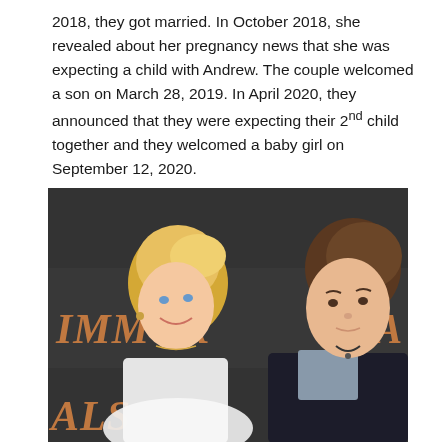2018, they got married. In October 2018, she revealed about her pregnancy news that she was expecting a child with Andrew. The couple welcomed a son on March 28, 2019. In April 2020, they announced that they were expecting their 2nd child together and they welcomed a baby girl on September 12, 2020.
[Figure (photo): A couple posing in front of a dark backdrop with partial text 'IMMORTALS' visible in orange/brown letters. A blonde woman in white on the left and a young man in a dark jacket on the right.]